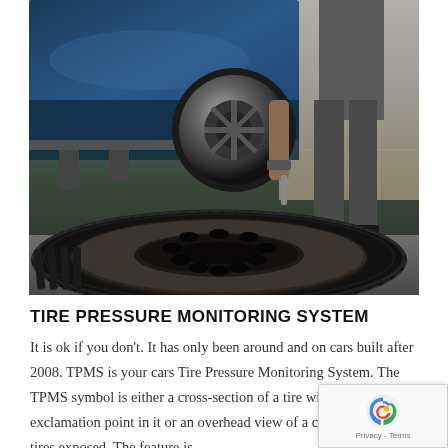[Figure (photo): A mechanic working on a car tire. The foreground shows a large black steel spare tire lying flat, with visible rim holes and worn rubber. In the background, a blue car is raised on a lift, and a person in grey pants is working on the wheel with a tool in a garage setting.]
TIRE PRESSURE MONITORING SYSTEM
It is ok if you don't. It has only been around and on cars built after 2008. TPMS is your cars Tire Pressure Monitoring System. The TPMS symbol is either a cross-section of a tire with an exclamation point in it or an overhead view of a car with all four tires exposed. The feature is